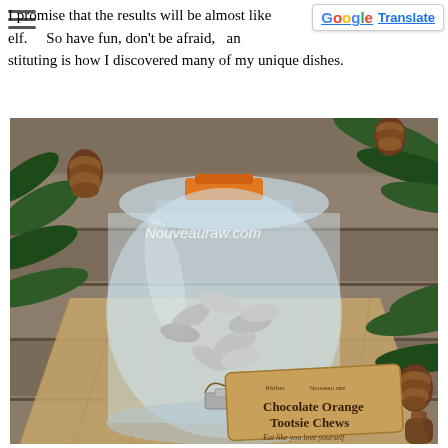I promise that the results will be almost like elf. So have fun, don't be afraid, and stituting is how I discovered many of my unique dishes.
[Figure (photo): A glass jar with an orange latch lid, filled with individually wrapped Chocolate Orange Tootsie Chews candies. A kraft paper tag reads 'Chocolate Orange Tootsie Chews – Eat like you love yourself'. The jar sits on burlap fabric surrounded by pine branches and pine cones on a wooden surface. Nouveauraw.com watermark visible.]